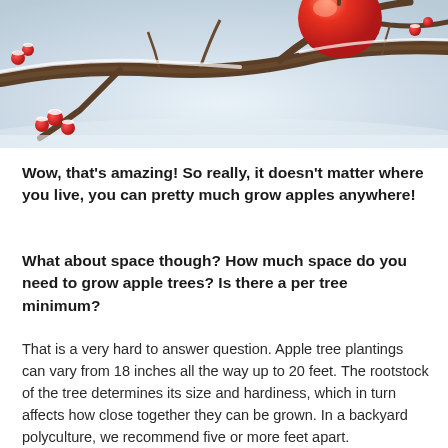[Figure (photo): A red apple hanging on a snow-covered tree branch in winter, with small red berries also visible on the branches against a snowy background.]
Wow, that's amazing! So really, it doesn't matter where you live, you can pretty much grow apples anywhere!
What about space though? How much space do you need to grow apple trees? Is there a per tree minimum?
That is a very hard to answer question. Apple tree plantings can vary from 18 inches all the way up to 20 feet. The rootstock of the tree determines its size and hardiness, which in turn affects how close together they can be grown. In a backyard polyculture, we recommend five or more feet apart.